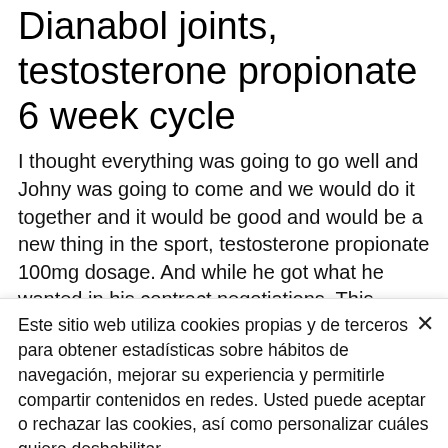Dianabol joints, testosterone propionate 6 week cycle
I thought everything was going to go well and Johny was going to come and we would do it together and it would be good and would be a new thing in the sport, testosterone propionate 100mg dosage. And while he got what he wanted in his contract negotiations. This article is based purely on
Este sitio web utiliza cookies propias y de terceros para obtener estadísticas sobre hábitos de navegación, mejorar su experiencia y permitirle compartir contenidos en redes. Usted puede aceptar o rechazar las cookies, así como personalizar cuáles quiere deshabilitar.
Info en Política de cookies Ver Política de Privacidad
Opciones de cookies
Aceptar